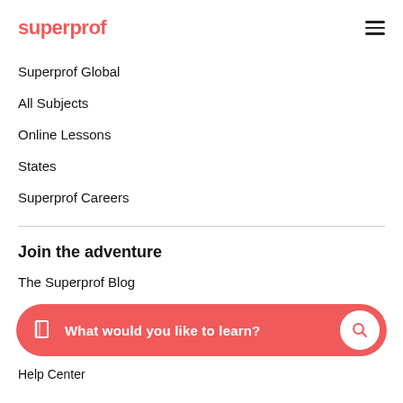superprof
Superprof Global
All Subjects
Online Lessons
States
Superprof Careers
Join the adventure
The Superprof Blog
What would you like to learn?
Help Center